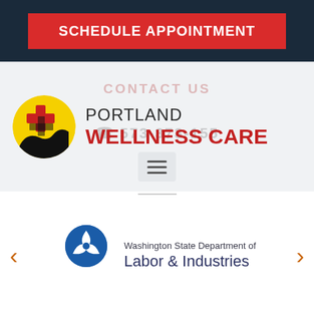SCHEDULE APPOINTMENT
[Figure (logo): Portland Wellness Care logo with circular emblem (yellow background, red cross, black figure), clinic name 'PORTLAND WELLNESS CARE', faded overlay text 'CONTACT US' and phone number]
[Figure (logo): Washington State Department of Labor & Industries logo with blue trefoil/triangle symbol and text 'Washington State Department of Labor & Industries']
< >